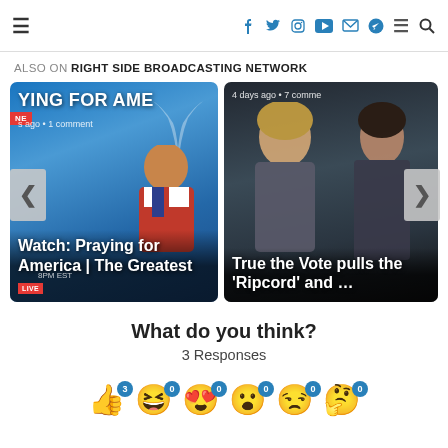≡  [social icons: facebook, twitter, instagram, youtube, email, telegram]  ≡  🔍
ALSO ON RIGHT SIDE BROADCASTING NETWORK
[Figure (screenshot): Carousel with two article cards. Left card: 'YING FOR AME' banner text, LIVE badge, 's ago • 1 comment', title 'Watch: Praying for America | The Greatest …', shows Trump at podium, blue background, LIVE 8PM EST label. Right card: '4 days ago • 7 comme', title 'True the Vote pulls the Ripcord' and …', shows woman and man in dark background. Left arrow and right arrow navigation buttons.]
What do you think?
3 Responses
[Figure (infographic): Row of emoji reaction icons with counts: thumbs up (3), laughing (0), heart eyes (0), surprised (0), sleepy/eye roll (0), thinking (0)]